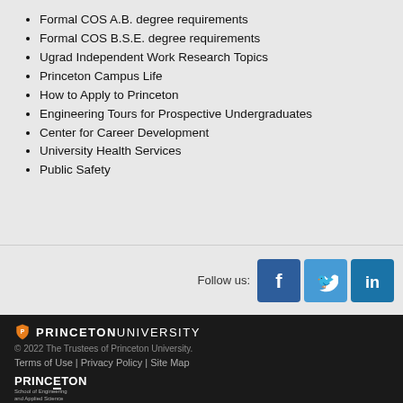Formal COS A.B. degree requirements
Formal COS B.S.E. degree requirements
Ugrad Independent Work Research Topics
Princeton Campus Life
How to Apply to Princeton
Engineering Tours for Prospective Undergraduates
Center for Career Development
University Health Services
Public Safety
[Figure (infographic): Follow us section with Facebook, Twitter, and LinkedIn social media icons]
Princeton University — © 2022 The Trustees of Princeton University. Terms of Use | Privacy Policy | Site Map — Princeton School of Engineering and Applied Science